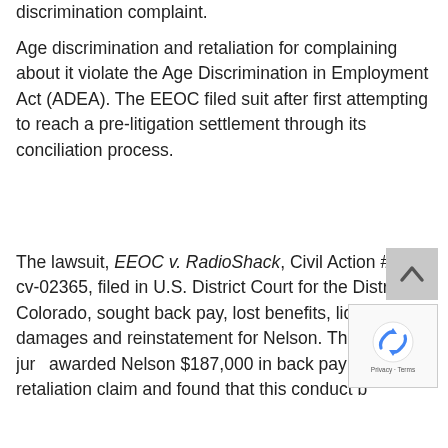discrimination complaint.
Age discrimination and retaliation for complaining about it violate the Age Discrimination in Employment Act (ADEA). The EEOC filed suit after first attempting to reach a pre-litigation settlement through its conciliation process.
The lawsuit, EEOC v. RadioShack, Civil Action #10-cv-02365, filed in U.S. District Court for the District of Colorado, sought back pay, lost benefits, liquidated damages and reinstatement for Nelson. The Denver jury awarded Nelson $187,000 in back pay on the retaliation claim and found that this conduct b...